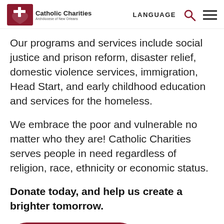Catholic Charities — LANGUAGE
Our programs and services include social justice and prison reform, disaster relief, domestic violence services, immigration, Head Start, and early childhood education and services for the homeless.
We embrace the poor and vulnerable no matter who they are! Catholic Charities serves people in need regardless of religion, race, ethnicity or economic status.
Donate today, and help us create a brighter tomorrow.
[Figure (other): Donate Now button with right-arrow chevron on dark red/crimson rounded rectangle background]